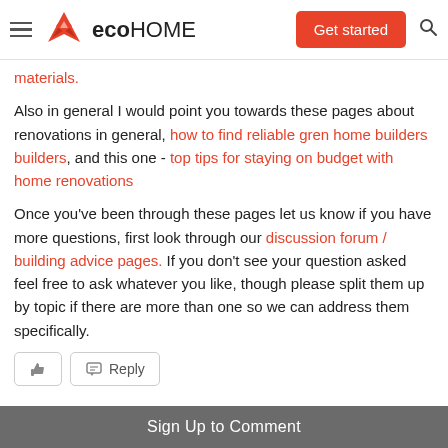eco HOME — Get started
materials.
Also in general I would point you towards these pages about renovations in general, how to find reliable gren home builders builders, and this one - top tips for staying on budget with home renovations
Once you've been through these pages let us know if you have more questions, first look through our discussion forum / building advice pages. If you don't see your question asked feel free to ask whatever you like, though please split them up by topic if there are more than one so we can address them specifically.
👍 Reply buttons
Sign Up to Comment